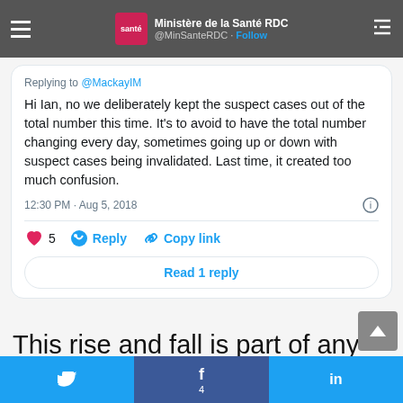Ministère de la Santé RDC @MinSanteRDC · Follow
Replying to @MackayIM
Hi Ian, no we deliberately kept the suspect cases out of the total number this time. It's to avoid to have the total number changing every day, sometimes going up or down with suspect cases being invalidated. Last time, it created too much confusion.
12:30 PM · Aug 5, 2018
5  Reply  Copy link
Read 1 reply
This rise and fall is part of any outbreak so I'll continue to add them
Twitter  f 4  in